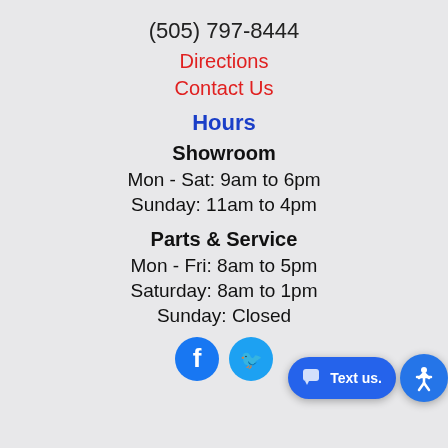(505) 797-8444
Directions
Contact Us
Hours
Showroom
Mon - Sat: 9am to 6pm
Sunday: 11am to 4pm
Parts & Service
Mon - Fri: 8am to 5pm
Saturday: 8am to 1pm
Sunday: Closed
[Figure (illustration): Facebook and Twitter social media icons at bottom of page. Also a blue 'Text us' pill button and an accessibility icon in the bottom right corner.]